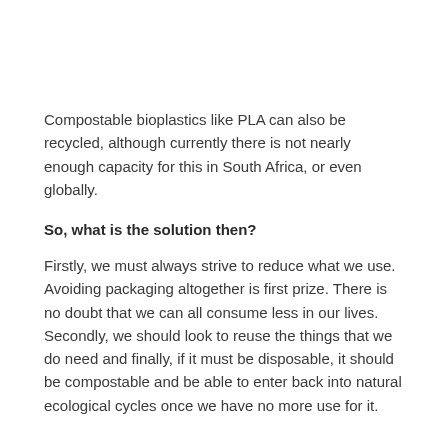Compostable bioplastics like PLA can also be recycled, although currently there is not nearly enough capacity for this in South Africa, or even globally.
So, what is the solution then?
Firstly, we must always strive to reduce what we use. Avoiding packaging altogether is first prize. There is no doubt that we can all consume less in our lives. Secondly, we should look to reuse the things that we do need and finally, if it must be disposable, it should be compostable and be able to enter back into natural ecological cycles once we have no more use for it.